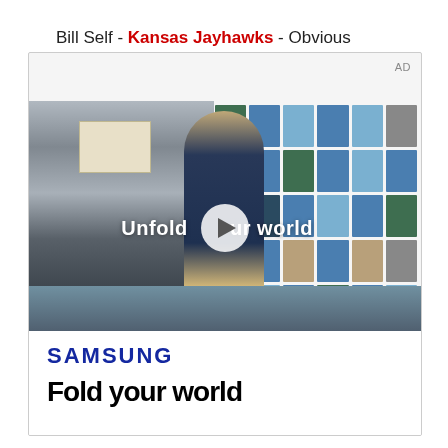Bill Self - Kansas Jayhawks - Obvious
[Figure (screenshot): Video player showing a Samsung advertisement. The video shows a young man in a denim jacket walking through a cafe/restaurant interior with a large tiled window behind him. A play button is overlaid in the center. Text on the video reads 'Unfold your world'. Below the video frame, the Samsung logo is shown in blue with partial tagline text visible.]